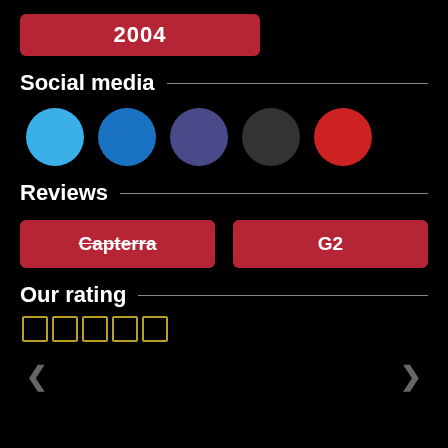2004
Social media
[Figure (illustration): Five colored circles representing social media platforms: light blue, blue, dark blue/purple, dark gray, red]
Reviews
[Figure (infographic): Two red buttons: 'Capterra' (with strikethrough) and 'G2']
Our rating
[Figure (infographic): Five empty star/square rating boxes in gold outline]
[Figure (infographic): Navigation arrows on left and right sides]